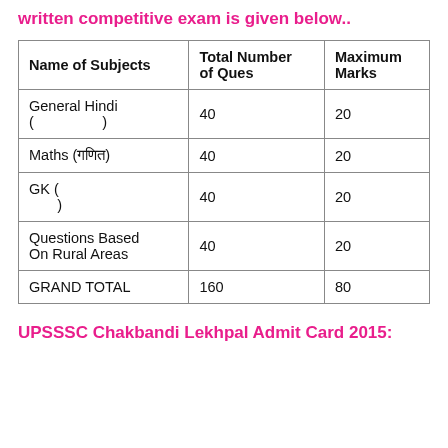written competitive exam is given below..
| Name of Subjects | Total Number of Ques | Maximum Marks |
| --- | --- | --- |
| General Hindi ( ) | 40 | 20 |
| Maths (गणित) | 40 | 20 |
| GK ( ) | 40 | 20 |
| Questions Based On Rural Areas | 40 | 20 |
| GRAND TOTAL | 160 | 80 |
UPSSSC Chakbandi Lekhpal Admit Card 2015: